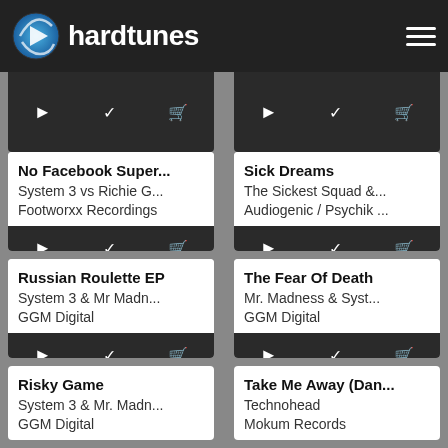hardtunes
[Figure (screenshot): Music catalog listing cards from hardtunes website, showing tracks: No Facebook Super..., Sick Dreams, Russian Roulette EP, The Fear Of Death, Risky Game, Take Me Away (Dan...]
No Facebook Super...
System 3 vs Richie G...
Footworxx Recordings
Sick Dreams
The Sickest Squad &...
Audiogenic / Psychik ...
Russian Roulette EP
System 3 & Mr Madn...
GGM Digital
The Fear Of Death
Mr. Madness &  Syst...
GGM Digital
Risky Game
System 3 & Mr. Madn...
GGM Digital
Take Me Away (Dan...
Technohead
Mokum Records